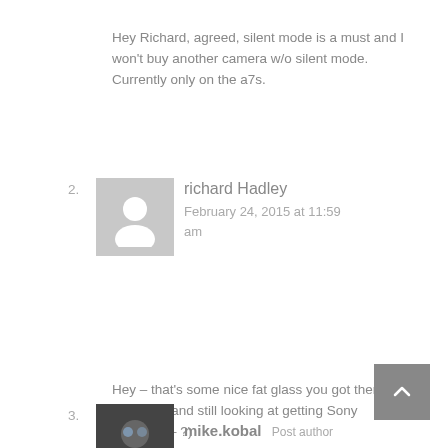Hey Richard, agreed, silent mode is a must and I won't buy another camera w/o silent mode. Currently only on the a7s.
2. richard Hadley
February 24, 2015 at 11:59 am
Hey – that's some nice fat glass you got there … me again and still looking at getting Sony a7(R/S/II – ?)
I have a question, can you help: One of my 'must' on the list is a complete silent mode, i know the a7s has it BUT does the a7II?

Many thanks – great work as always!
3. mike.kobal Post author